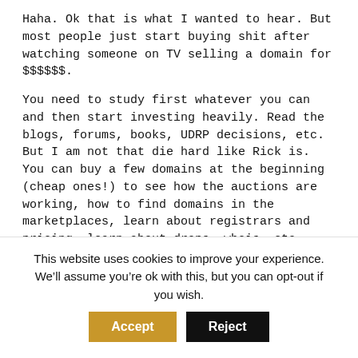Haha. Ok that is what I wanted to hear. But most people just start buying shit after watching someone on TV selling a domain for $$$$$$.
You need to study first whatever you can and then start investing heavily. Read the blogs, forums, books, UDRP decisions, etc. But I am not that die hard like Rick is. You can buy a few domains at the beginning (cheap ones!) to see how the auctions are working, how to find domains in the marketplaces, learn about registrars and pricing, learn about drops, whois, etc.
This is what Rick would do if he had $10k for domain names today:
“w/$10k, I would set aside $1000 4 hand regs & FED
This website uses cookies to improve your experience. We’ll assume you’re ok with this, but you can opt-out if you wish.